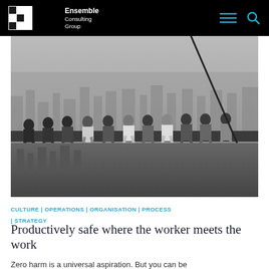Ensemble Consulting Group
[Figure (photo): Black and white photograph of construction workers sitting on a steel beam high above a city skyline (the famous 'Lunch atop a Skyscraper' style image). Workers are lined up along the beam eating lunch with the city far below.]
CULTURE | OPERATIONS | ORGANISATION | PROCESS | STRATEGY
Productively safe where the worker meets the work
Zero harm is a universal aspiration. But you can be